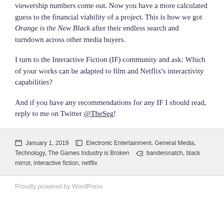viewership numbers come out. Now you have a more calculated guess to the financial viability of a project. This is how we got Orange is the New Black after their endless search and turndown across other media buyers.
I turn to the Interactive Fiction (IF) community and ask: Which of your works can be adapted to film and Netflix's interactivity capabilities?
And if you have any recommendations for any IF I should read, reply to me on Twitter @TheSeg!
January 1, 2019  Electronic Entertainment, General Media, Technology, The Games Industry is Broken  bandersnatch, black mirror, interactive fiction, netflix
Proudly powered by WordPress